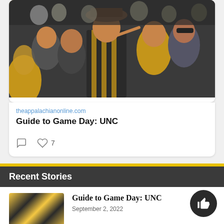[Figure (photo): Crowd of Appalachian State fans in black and gold at a football game, wearing costumes including a banana suit and striped overalls]
theappalachianonline.com
Guide to Game Day: UNC
Recent Stories
[Figure (photo): Thumbnail of Appalachian State fans in black and gold at football game]
Guide to Game Day: UNC
September 2, 2022
[Figure (photo): Thumbnail of Appalachian State football players on field]
Former Mountaineers make official N... rosters